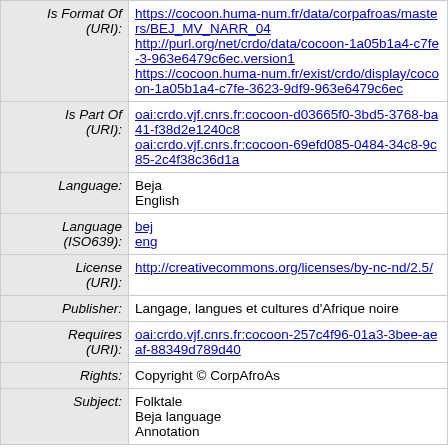| Field | Value |
| --- | --- |
| Is Format Of (URI): | https://cocoon.huma-num.fr/data/corpafroas/masters/BEJ_MV_NARR_04
http://purl.org/net/crdo/data/cocoon-1a05b1a4-c7fe-3963e6479c6ec.version1
https://cocoon.huma-num.fr/exist/crdo/display/cocoon-1a05b1a4-c7fe-3623-9df9-963e6479c6ec |
| Is Part Of (URI): | oai:crdo.vjf.cnrs.fr:cocoon-d03665f0-3bd5-3768-ba41-f38d2e1240c8
oai:crdo.vjf.cnrs.fr:cocoon-69efd085-0484-34c8-9c85-2c4f38c36d1a |
| Language: | Beja
English |
| Language (ISO639): | bej
eng |
| License (URI): | http://creativecommons.org/licenses/by-nc-nd/2.5/ |
| Publisher: | Langage, langues et cultures d'Afrique noire |
| Requires (URI): | oai:crdo.vjf.cnrs.fr:cocoon-257c4f96-01a3-3bee-aeaf-88349d789d40 |
| Rights: | Copyright © CorpAfroAs |
| Subject: | Folktale
Beja language
Annotation |